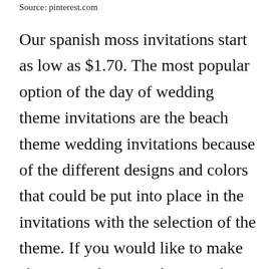Source: pinterest.com
Our spanish moss invitations start as low as $1.70. The most popular option of the day of wedding theme invitations are the beach theme wedding invitations because of the different designs and colors that could be put into place in the invitations with the selection of the theme. If you would like to make changes and see another proof you will receive the proof on the following. The invitations were letterpressed on 100% cotton crane ecru paper. For an